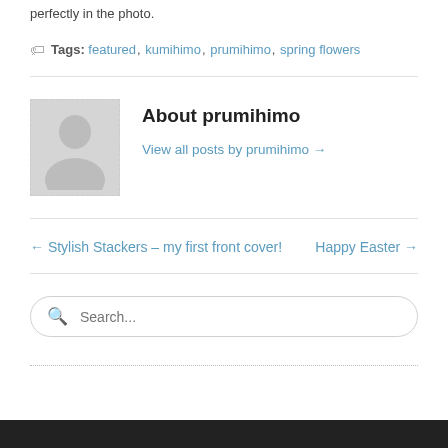perfectly in the photo.
Tags: featured, kumihimo, prumihimo, spring flowers
About prumihimo
View all posts by prumihimo →
← Stylish Stackers – my first front cover!
Happy Easter →
Search...